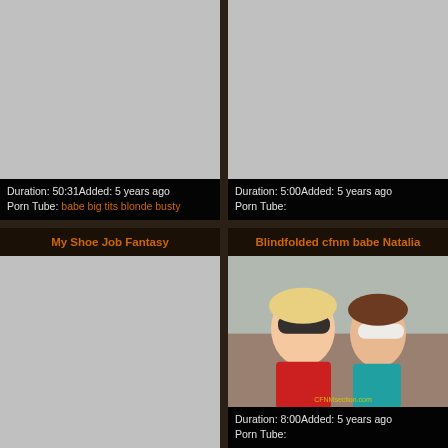[Figure (screenshot): Video thumbnail placeholder (gray) for an unspecified video, top-left card]
Duration: 50:31Added: 5 years ago
Porn Tube: babe big tits blonde busty
[Figure (screenshot): Video thumbnail placeholder (gray) for an unspecified video, top-right card]
Duration: 5:00Added: 5 years ago
Porn Tube:
My Shoe Job Fantasy
[Figure (screenshot): Video thumbnail placeholder (gray) for My Shoe Job Fantasy, bottom-left card]
Blindfolded cfnm babe Natalia
[Figure (photo): Photo thumbnail showing two blindfolded women, bottom-right card. Watermark: CFNMsection.com]
Duration: 8:00Added: 5 years ago
Porn Tube: